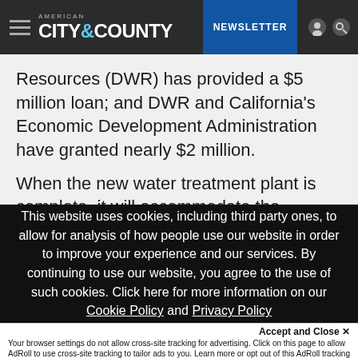AMERICAN CITY & COUNTY | NEWSLETTER
Resources (DWR) has provided a $5 million loan; and DWR and California's Economic Development Administration have granted nearly $2 million.
When the new water treatment plant is complete, it will accommodate the demands of Brawley's 22,000 residents as well as those of neighboring communities
This website uses cookies, including third party ones, to allow for analysis of how people use our website in order to improve your experience and our services. By continuing to use our website, you agree to the use of such cookies. Click here for more information on our Cookie Policy and Privacy Policy
Accept and Close ✕
Your browser settings do not allow cross-site tracking for advertising. Click on this page to allow AdRoll to use cross-site tracking to tailor ads to you. Learn more or opt out of this AdRoll tracking by clicking here. This message only appears once.